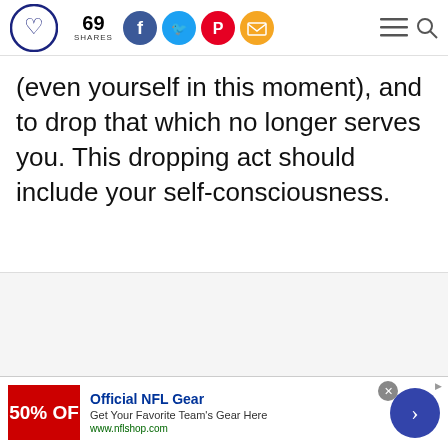69 SHARES
(even yourself in this moment), and to drop that which no longer serves you. This dropping act should include your self-consciousness.
[Figure (screenshot): Advertisement banner for Official NFL Gear - 50% OFF with NFL shop logo, text 'Get Your Favorite Team's Gear Here', url 'www.nflshop.com', navigation arrow button]